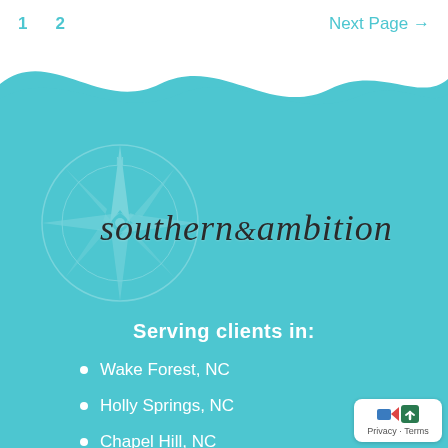1  2  Next Page →
[Figure (logo): Southern & Ambition brand logo with compass rose watermark on teal background with wave divider]
Serving clients in:
Wake Forest, NC
Holly Springs, NC
Chapel Hill, NC